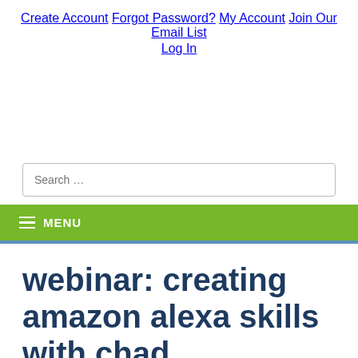Create Account   Forgot Password?   My Account   Join Our Email List   Log In
Search ...
≡ MENU
webinar: creating amazon alexa skills with chad